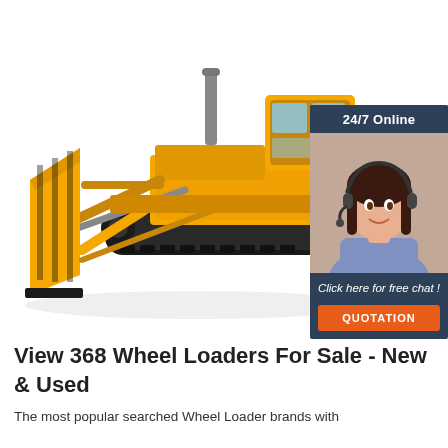[Figure (photo): Yellow bulldozer/crawler dozer with large blade on white background]
[Figure (infographic): Chat widget with '24/7 Online' header, photo of female customer service agent with headset, 'Click here for free chat!' text, and orange QUOTATION button]
View 368 Wheel Loaders For Sale - New & Used
The most popular searched Wheel Loader brands with